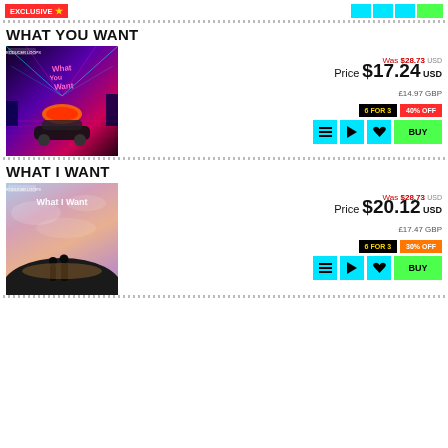EXCLUSIVE ★
WHAT YOU WANT
[Figure (illustration): Album cover for 'What You Want' - synthwave style with neon city, car, lasers, pink/purple colors]
Was $28.73 USD
Price $17.24 USD
£14.97 GBP
6 FOR 3  40% OFF
BUY
WHAT I WANT
[Figure (illustration): Album cover for 'What I Want' - two silhouettes on a hill, pastel sky, dreamy colors]
Was $28.73 USD
Price $20.12 USD
£17.47 GBP
6 FOR 3  30% OFF
BUY